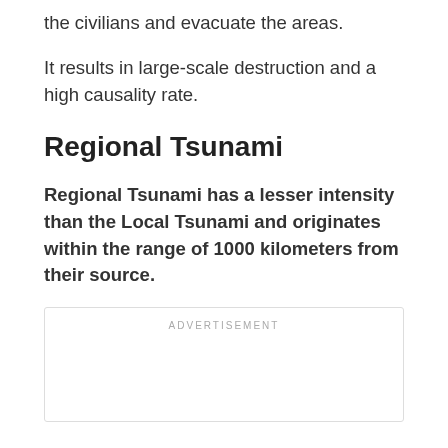the civilians and evacuate the areas.
It results in large-scale destruction and a high causality rate.
Regional Tsunami
Regional Tsunami has a lesser intensity than the Local Tsunami and originates within the range of 1000 kilometers from their source.
[Figure (other): Advertisement placeholder box with label ADVERTISEMENT]